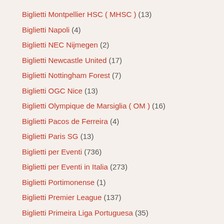Biglietti Montpellier HSC ( MHSC ) (13)
Biglietti Napoli (4)
Biglietti NEC Nijmegen (2)
Biglietti Newcastle United (17)
Biglietti Nottingham Forest (7)
Biglietti OGC Nice (13)
Biglietti Olympique de Marsiglia ( OM ) (16)
Biglietti Pacos de Ferreira (4)
Biglietti Paris SG (13)
Biglietti per Eventi (736)
Biglietti per Eventi in Italia (273)
Biglietti Portimonense (1)
Biglietti Premier League (137)
Biglietti Primeira Liga Portuguesa (35)